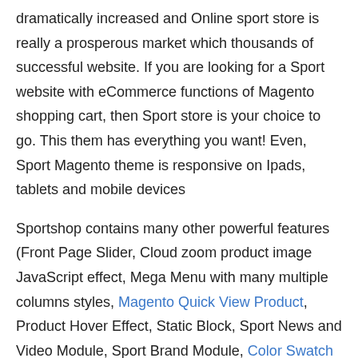dramatically increased and Online sport store is really a prosperous market which thousands of successful website. If you are looking for a Sport website with eCommerce functions of Magento shopping cart, then Sport store is your choice to go. This them has everything you want! Even, Sport Magento theme is responsive on Ipads, tablets and mobile devices
Sportshop contains many other powerful features (Front Page Slider, Cloud zoom product image JavaScript effect, Mega Menu with many multiple columns styles, Magento Quick View Product, Product Hover Effect, Static Block, Sport News and Video Module, Sport Brand Module, Color Swatch Extension) which can do a lot of things for you,